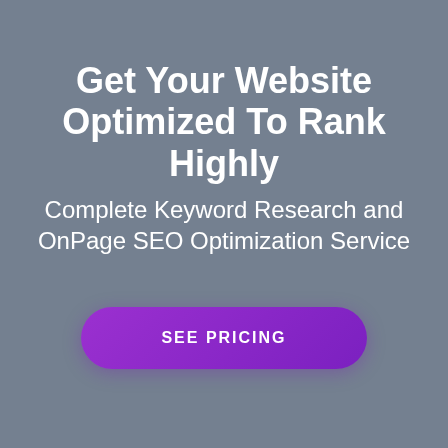Get Your Website Optimized To Rank Highly
Complete Keyword Research and OnPage SEO Optimization Service
SEE PRICING